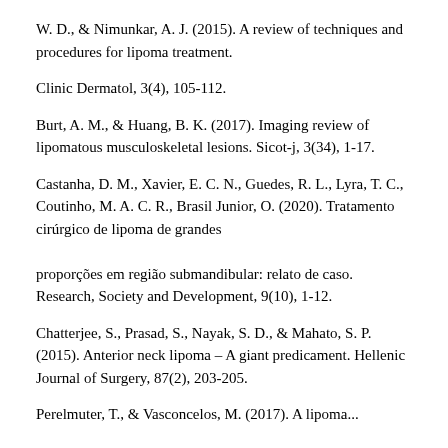W. D., & Nimunkar, A. J. (2015). A review of techniques and procedures for lipoma treatment.
Clinic Dermatol, 3(4), 105-112.
Burt, A. M., & Huang, B. K. (2017). Imaging review of lipomatous musculoskeletal lesions. Sicot-j, 3(34), 1-17.
Castanha, D. M., Xavier, E. C. N., Guedes, R. L., Lyra, T. C., Coutinho, M. A. C. R., Brasil Junior, O. (2020). Tratamento cirúrgico de lipoma de grandes proporções em região submandibular: relato de caso. Research, Society and Development, 9(10), 1-12.
Chatterjee, S., Prasad, S., Nayak, S. D., & Mahato, S. P. (2015). Anterior neck lipoma – A giant predicament. Hellenic Journal of Surgery, 87(2), 203-205.
Perelmuter, T., & Vasconcelos, M. (2017). A lipoma...